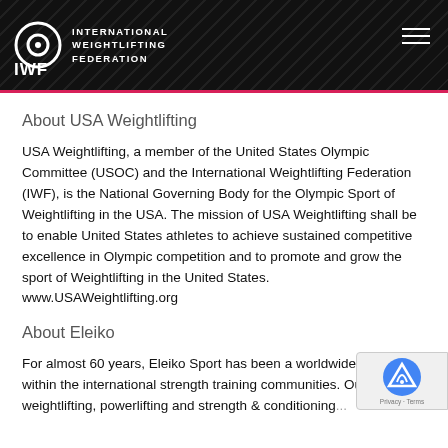IWF INTERNATIONAL WEIGHTLIFTING FEDERATION
About USA Weightlifting
USA Weightlifting, a member of the United States Olympic Committee (USOC) and the International Weightlifting Federation (IWF), is the National Governing Body for the Olympic Sport of Weightlifting in the USA. The mission of USA Weightlifting shall be to enable United States athletes to achieve sustained competitive excellence in Olympic competition and to promote and grow the sport of Weightlifting in the United States. www.USAWeightlifting.org
About Eleiko
For almost 60 years, Eleiko Sport has been a worldwide leader within the international strength training communities. Our weightlifting, powerlifting and strength & conditioning...